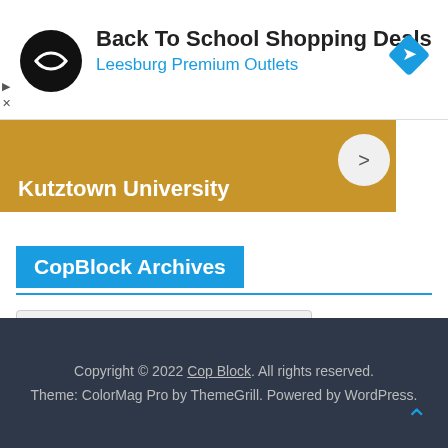[Figure (screenshot): Advertisement banner: Back To School Shopping Deals - Leesburg Premium Outlets with black circle logo and blue diamond icon]
[Figure (screenshot): Gold/yellow navigation bar with Kutztown University text, caret-up button and right arrow circle button]
CopBlock Archives
Select Month
Copyright © 2022 Cop Block. All rights reserved. Theme: ColorMag Pro by ThemeGrill. Powered by WordPress.